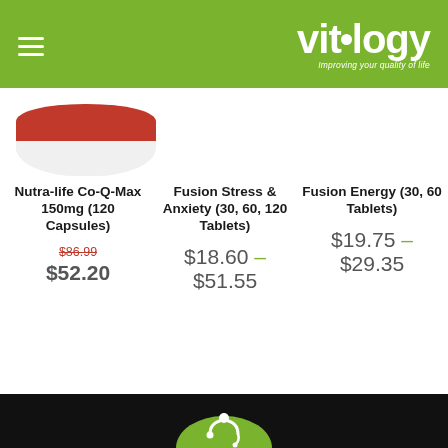Vitology – Improving your quality of life
[Figure (photo): Nutra-life Co-Q-Max 150mg product container, partially visible at top, white rounded jar with red label]
Nutra-life Co-Q-Max 150mg (120 Capsules)
$86.99 $52.20
Fusion Stress & Anxiety (30, 60, 120 Tablets)
$18.60 – $51.55
Fusion Energy (30, 60 Tablets)
$19.75 – $29.35
Vitology footer logo